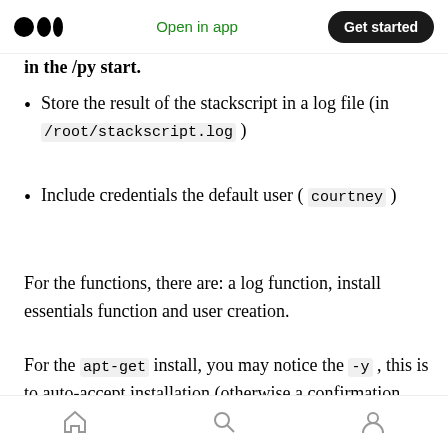Open in app | Get started
in the /py start.
Store the result of the stackscript in a log file (in /root/stackscript.log )
Include credentials the default user ( courtney )
For the functions, there are: a log function, install essentials function and user creation.
For the apt-get install, you may notice the -y , this is to auto-accept installation (otherwise a confirmation prompt will appear). Alternatively
Home | Search | Profile